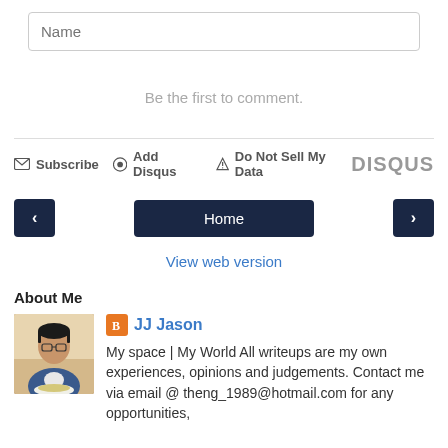Name
Be the first to comment.
Subscribe   Add Disqus   Do Not Sell My Data   DISQUS
< Home >
View web version
About Me
[Figure (photo): Profile photo of JJ Jason, a man holding a plate of food]
JJ Jason
My space | My World All writeups are my own experiences, opinions and judgements. Contact me via email @ theng_1989@hotmail.com for any opportunities,